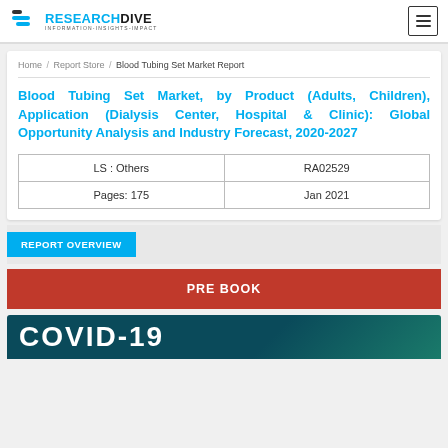RESEARCHDIVE INFORMATION-INSIGHTS-IMPACT
Home / Report Store / Blood Tubing Set Market Report
Blood Tubing Set Market, by Product (Adults, Children), Application (Dialysis Center, Hospital & Clinic): Global Opportunity Analysis and Industry Forecast, 2020-2027
| LS : Others | RA02529 |
| Pages: 175 | Jan 2021 |
REPORT OVERVIEW
PRE BOOK
COVID-19